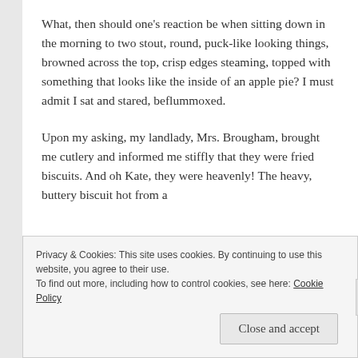What, then should one's reaction be when sitting down in the morning to two stout, round, puck-like looking things, browned across the top, crisp edges steaming, topped with something that looks like the inside of an apple pie? I must admit I sat and stared, beflummoxed.
Upon my asking, my landlady, Mrs. Brougham, brought me cutlery and informed me stiffly that they were fried biscuits. And oh Kate, they were heavenly! The heavy, buttery biscuit hot from a
Privacy & Cookies: This site uses cookies. By continuing to use this website, you agree to their use.
To find out more, including how to control cookies, see here: Cookie Policy
Close and accept